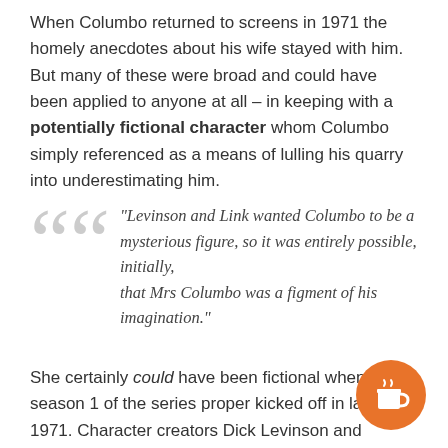When Columbo returned to screens in 1971 the homely anecdotes about his wife stayed with him. But many of these were broad and could have been applied to anyone at all – in keeping with a potentially fictional character whom Columbo simply referenced as a means of lulling his quarry into underestimating him.
"Levinson and Link wanted Columbo to be a mysterious figure, so it was entirely possible, initially, that Mrs Columbo was a figment of his imagination."
She certainly could have been fictional when season 1 of the series proper kicked off in late 1971. Character creators Dick Levinson and William Link, in particular, seemed to be of the opinion that Columbo simply made up the references about his wife to suit whatever conversation he was having at the time. In their minds, Columbo was more likely to be a man who lived alone and was married to his work. He never wears a wedding ring, for one thing...